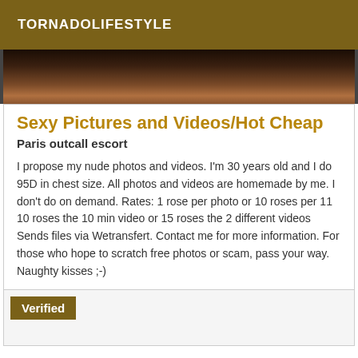TORNADOLIFESTYLE
[Figure (photo): Close-up photo strip, dark tones]
Sexy Pictures and Videos/Hot Cheap
Paris outcall escort
I propose my nude photos and videos. I'm 30 years old and I do 95D in chest size. All photos and videos are homemade by me. I don't do on demand. Rates: 1 rose per photo or 10 roses per 11 10 roses the 10 min video or 15 roses the 2 different videos Sends files via Wetransfert. Contact me for more information. For those who hope to scratch free photos or scam, pass your way. Naughty kisses ;-)
Verified